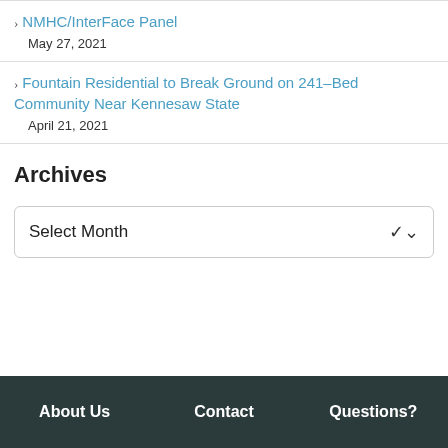NMHC/InterFace Panel
May 27, 2021
Fountain Residential to Break Ground on 241-Bed Community Near Kennesaw State
April 21, 2021
Archives
Select Month
About Us    Contact    Questions?